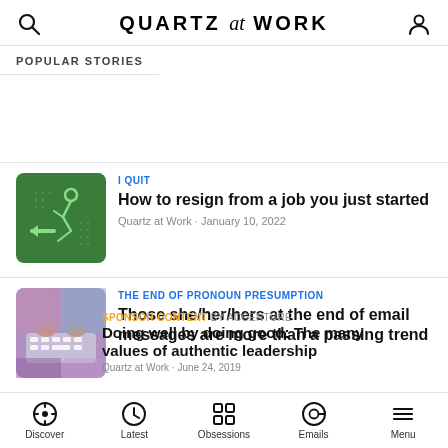QUARTZ at WORK
POPULAR STORIES
[Figure (screenshot): Green thumbnail with person running/exiting icon in white outline]
I QUIT
How to resign from a job you just started
Quartz at Work · January 10, 2022
[Figure (photo): Person typing on laptop keyboard, colorful abstract background]
THE END OF PRONOUN PRESUMPTION
Those she/her/hers at the end of email messages are more than a passing trend
Quartz at Work · June 24, 2019
SPONSOR CONTENT BY ACCENTURE
Doing well by doing good: The many values of authentic leadership
Discover   Latest   Obsessions   Emails   Menu